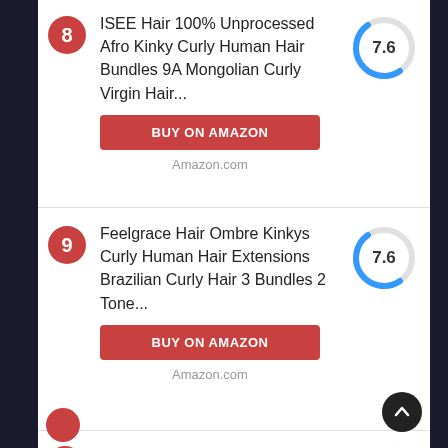8 — ISEE Hair 100% Unprocessed Afro Kinky Curly Human Hair Bundles 9A Mongolian Curly Virgin Hair... | Score: 7.6 | BUY ON AMAZON | Amazon.com
9 — Feelgrace Hair Ombre Kinkys Curly Human Hair Extensions Brazilian Curly Hair 3 Bundles 2 Tone... | Score: 7.6 | BUY ON AMAZON | Amazon.com
10 — Mongolian Afro Kinky Curly... (partial)